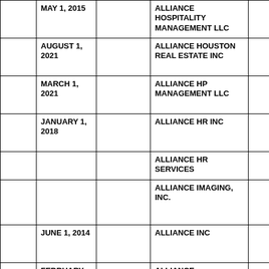|  | Date | End Date | Entity Name |  |
| --- | --- | --- | --- | --- |
|  | MAY 1, 2015 |  | ALLIANCE HOSPITALITY MANAGEMENT LLC |  |
|  | AUGUST 1, 2021 |  | ALLIANCE HOUSTON REAL ESTATE INC |  |
|  | MARCH 1, 2021 |  | ALLIANCE HP MANAGEMENT LLC |  |
|  | JANUARY 1, 2018 |  | ALLIANCE HR INC |  |
|  |  |  | ALLIANCE HR SERVICES |  |
|  |  |  | ALLIANCE IMAGING, INC. |  |
|  | JUNE 1, 2014 |  | ALLIANCE INC |  |
|  | FEBRUARY 1, 2020 |  | ALLIANCE INDUSTRIAL SERVICES SALES |  |
|  | APRIL 1, 2021 | FEBRUARY 28, 2022 | ALLIANCE INDUSTRIES LLC |  |
|  |  |  |  |  |